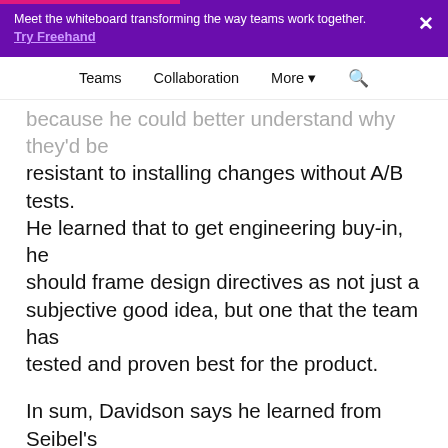Meet the whiteboard transforming the way teams work together. Try Freehand
Teams  Collaboration  More  🔍
because he could better understand why they'd be resistant to installing changes without A/B tests. He learned that to get engineering buy-in, he should frame design directives as not just a subjective good idea, but one that the team has tested and proven best for the product.
In sum, Davidson says he learned from Seibel's article that data is there to help you do a better job, but that it's not there to keep you from doing the best job that you could do—a reminder we all need in this increasingly metrics-driven world.